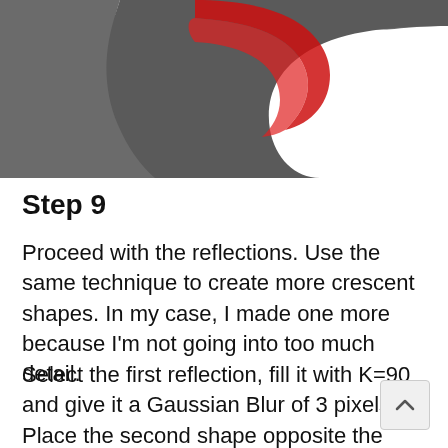[Figure (illustration): Partial illustration of a circular ring/torus shape in dark gray with a red crescent-shaped highlight/reflection on the upper portion, shown cropped at the top of the page.]
Step 9
Proceed with the reflections. Use the same technique to create more crescent shapes. In my case, I made one more because I'm not going into too much detail.
Select the first reflection, fill it with K=90 and give it a Gaussian Blur of 3 pixels. Place the second shape opposite the first one - this going to be a light reflection. Fill it with a to black linear gradient... Gaussian Bl...